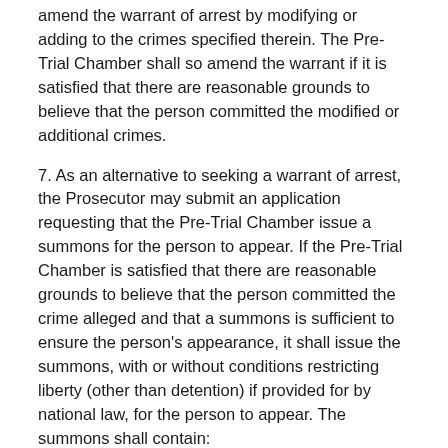amend the warrant of arrest by modifying or adding to the crimes specified therein. The Pre-Trial Chamber shall so amend the warrant if it is satisfied that there are reasonable grounds to believe that the person committed the modified or additional crimes.
7. As an alternative to seeking a warrant of arrest, the Prosecutor may submit an application requesting that the Pre-Trial Chamber issue a summons for the person to appear. If the Pre-Trial Chamber is satisfied that there are reasonable grounds to believe that the person committed the crime alleged and that a summons is sufficient to ensure the person's appearance, it shall issue the summons, with or without conditions restricting liberty (other than detention) if provided for by national law, for the person to appear. The summons shall contain:
(a) The name of the person and any other relevant identifying information;
(b) The specified date on which the person is to appear;
(c) A specific reference to the crimes within the jurisdiction of the Court which the person is alleged to